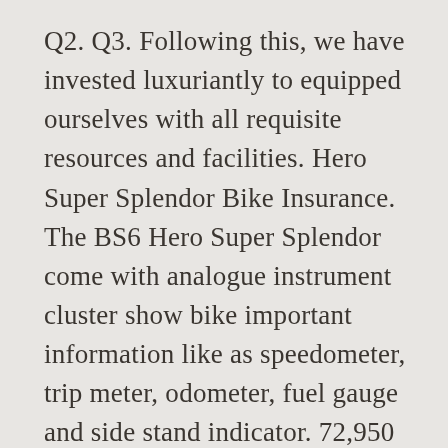Q2. Q3. Following this, we have invested luxuriantly to equipped ourselves with all requisite resources and facilities. Hero Super Splendor Bike Insurance. The BS6 Hero Super Splendor come with analogue instrument cluster show bike important information like as speedometer, trip meter, odometer, fuel gauge and side stand indicator. 72,950 (ex-showroom, Delhi). | Check Price in India & Buy Online. | Country Search Price Range: Rs.25 to 140 INR Hero Super Splendor reserves the right to change the price at anytime. Review and pictures of Super Splendor Know more about Hero Super Splendor 2018 STD - Price, Mileage, Reviews, Specification, Gallery -